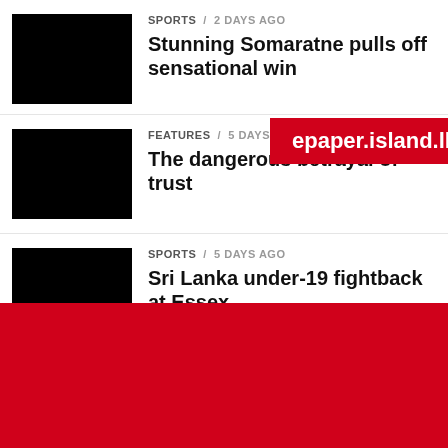Stunning Somaratne pulls off sensational win
SPORTS / 2 days ago
epaper.island.lk
The dangerous betrayal of trust
FEATURES / 5 days ago
Sri Lanka under-19 fightback at Essex
SPORTS / 5 days ago